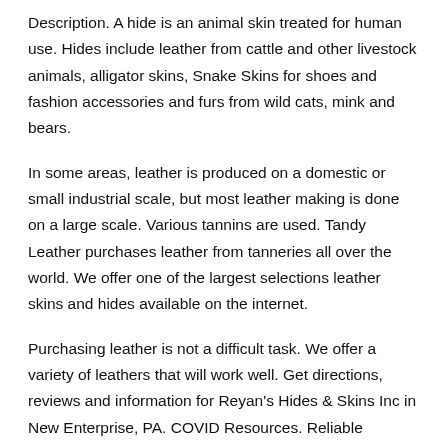Description. A hide is an animal skin treated for human use. Hides include leather from cattle and other livestock animals, alligator skins, Snake Skins for shoes and fashion accessories and furs from wild cats, mink and bears.
In some areas, leather is produced on a domestic or small industrial scale, but most leather making is done on a large scale. Various tannins are used. Tandy Leather purchases leather from tanneries all over the world. We offer one of the largest selections leather skins and hides available on the internet.
Purchasing leather is not a difficult task. We offer a variety of leathers that will work well. Get directions, reviews and information for Reyan's Hides & Skins Inc in New Enterprise, PA. COVID Resources. Reliable information about the coronavirus (COVID) is available from the World Health Organization (current situation, international travel).Numerous and frequently-updated resource results are available from this 's WebJunction has pulled together information and resources to assist library staff as they consider how to handle.